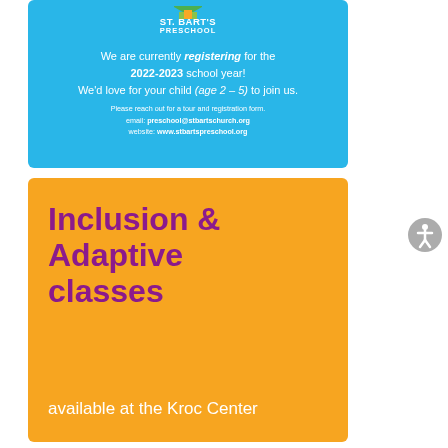[Figure (infographic): St. Bart's Preschool advertisement on blue background with logo, registration text, email and website]
[Figure (infographic): Orange banner advertisement for Inclusion & Adaptive classes available at the Kroc Center, with large purple bold text]